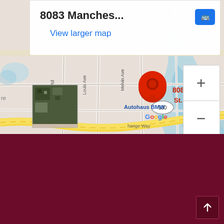[Figure (map): Google Maps screenshot showing location pin at 8083 Manchester, St. Louis, MO 631, with streets including Salem Rd, Louis Ave, Melvin Ave, route 100, and nearby Autohaus BMW. Map tooltip shows '8083 Manches...' and 'View larger map' link. Zoom controls (+ and -) visible on right side.]
Hours of Operation
Due to Covid-19, hours are not our usual. Please call for an appointment.